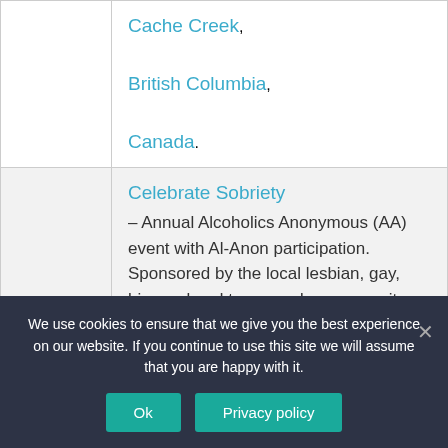|  | Cache Creek,

British Columbia,

Canada. |
|  | Celebrate Sobriety
– Annual Alcoholics Anonymous (AA) event with Al-Anon participation.  Sponsored by the local lesbian, gay, bisexual and transgender community.  March 25, 26, & |
We use cookies to ensure that we give you the best experience on our website. If you continue to use this site we will assume that you are happy with it.